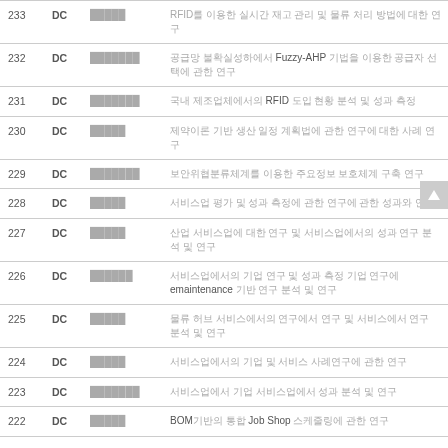| 번호 | 구분 | 저자 | 제목 |
| --- | --- | --- | --- |
| 233 | DC | █████ | RFID를 이용한 실시간 재고 관리 및 물류 처리 방법에 대한 연구 |
| 232 | DC | ███████ | 공급망 불확실성하에서 Fuzzy-AHP 기법을 이용한 공급자 선택에 관한 연구 |
| 231 | DC | ███████ | 국내 제조업체에서의 RFID 도입 현황 분석 및 성과 측정 |
| 230 | DC | █████ | 제약이론 기반 생산 일정 계획법에 관한 연구에 대한 사례 연구 |
| 229 | DC | ███████ | 보안위협분류체계를 이용한 주요정보 보호체계 구축 연구 |
| 228 | DC | █████ | 서비스업 평가 및 성과 측정에 관한 연구에 관한 성과와 연구 |
| 227 | DC | █████ | 산업 서비스업에 대한 연구 및 서비스업에서의 성과 연구 분석 및 연구 |
| 226 | DC | ██████ | 서비스업에서의 기업 연구 및 성과 측정 기업 연구에 emaintenance 기반 연구 분석 및 연구 |
| 225 | DC | █████ | 물류 허브 서비스에서의 연구에서 연구 및 서비스에서 연구 분석 및 연구 |
| 224 | DC | █████ | 서비스업에서의 기업 및 서비스 사례연구에 관한 연구 |
| 223 | DC | ███████ | 서비스업에서 기업 서비스업에서 성과 분석 및 연구 |
| 222 | DC | █████ | BOM기반의 통합 Job Shop 스케줄링에 관한 연구 |